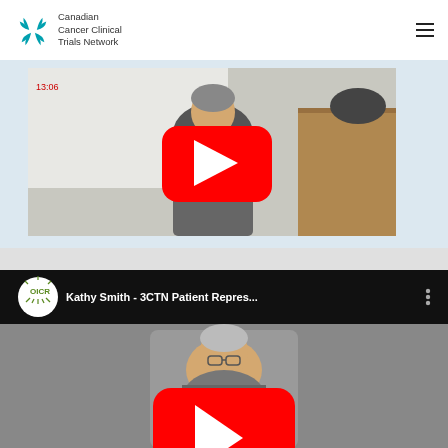[Figure (logo): Canadian Cancer Clinical Trials Network logo with teal leaf/snowflake symbol and text]
[Figure (screenshot): YouTube video thumbnail - first video showing a person in a patterned jacket in a room with whiteboard, with red YouTube play button overlay]
[Figure (screenshot): YouTube video embed - OICR channel, title 'Kathy Smith - 3CTN Patient Repres...' with red YouTube play button overlay and person sitting in chair]